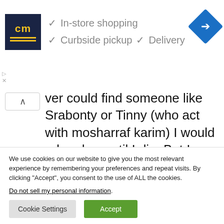[Figure (infographic): Advertisement banner with CM logo, checkmarks for In-store shopping, Curbside pickup, Delivery, and a navigation arrow icon]
ver could find someone like Srabonty or Tinny (who act with mosharraf karim) I would adore her until I die. But I know, they aren't for me. They are for them, who can feed them with fraud, cheating, lies and....
We use cookies on our website to give you the most relevant experience by remembering your preferences and repeat visits. By clicking “Accept”, you consent to the use of ALL the cookies.
Do not sell my personal information.
Cookie Settings  Accept